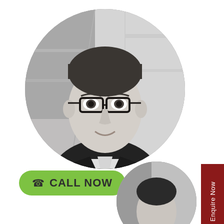[Figure (photo): Black and white circular portrait photo of a young man wearing glasses and a dark blazer, smiling, with an architectural background.]
Enquire Now
[Figure (other): Green rounded button with phone icon and text CALL NOW]
[Figure (photo): Partially visible circular black and white photo at bottom right, showing a person in a professional setting.]